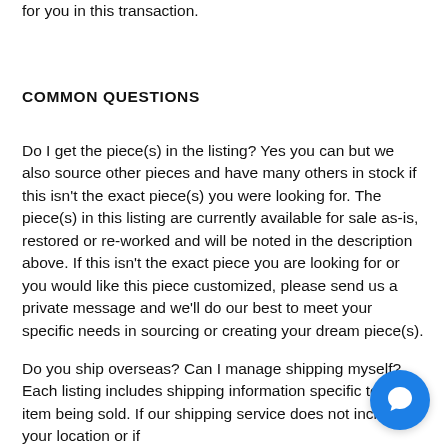for you in this transaction.
COMMON QUESTIONS
Do I get the piece(s) in the listing? Yes you can but we also source other pieces and have many others in stock if this isn't the exact piece(s) you were looking for. The piece(s) in this listing are currently available for sale as-is, restored or re-worked and will be noted in the description above. If this isn't the exact piece you are looking for or you would like this piece customized, please send us a private message and we'll do our best to meet your specific needs in sourcing or creating your dream piece(s).
Do you ship overseas? Can I manage shipping myself? Each listing includes shipping information specific to the item being sold. If our shipping service does not include your location or if